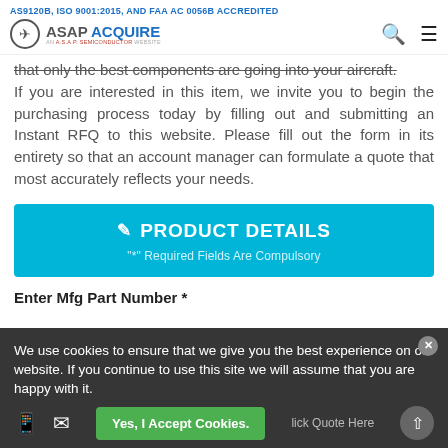AS9120B, ISO 9001:2015, AND FAA AC 0056B ACCREDITED
that only the best components are going into your aircraft. If you are interested in this item, we invite you to begin the purchasing process today by filling out and submitting an Instant RFQ to this website. Please fill out the form in its entirety so that an account manager can formulate a quote that most accurately reflects your needs.
PRODUCT DETAILS
"*" Required Fields Are Compulsory
Enter Mfg Part Number *
We use cookies to ensure that we give you the best experience on our website. If you continue to use this site we will assume that you are happy with it.